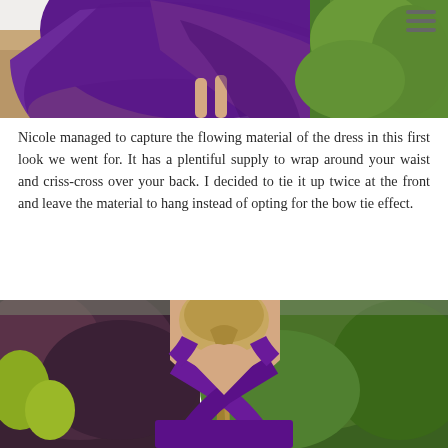[Figure (photo): A woman in a purple flowing dress photographed from behind/below, showing the skirt spinning outward, with green garden hedges visible in the background]
Nicole managed to capture the flowing material of the dress in this first look we went for. It has a plentiful supply to wrap around your waist and criss-cross over your back. I decided to tie it up twice at the front and leave the material to hang instead of opting for the bow tie effect.
[Figure (photo): A woman with braided blonde hair viewed from behind, wearing a purple criss-cross back dress, with garden foliage visible in the background]